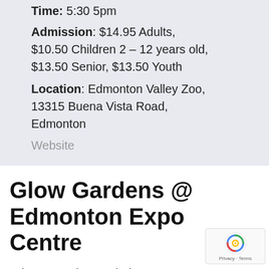Time: 5:30 5pm
Admission: $14.95 Adults, $10.50 Children 2 – 12 years old, $13.50 Senior, $13.50 Youth
Location: Edmonton Valley Zoo, 13315 Buena Vista Road, Edmonton
Website
Glow Gardens @ Edmonton Expo Centre
Edmonton's largest indoor Christmas festival. Glow Edmonton — come to life